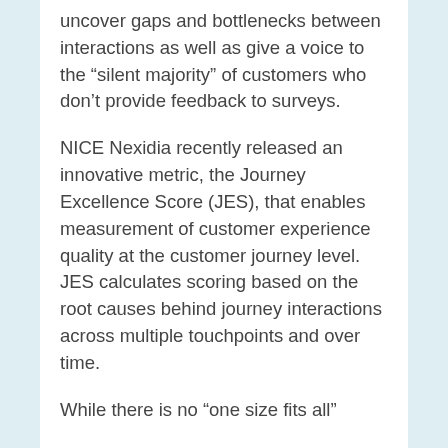uncover gaps and bottlenecks between interactions as well as give a voice to the “silent majority” of customers who don’t provide feedback to surveys.
NICE Nexidia recently released an innovative metric, the Journey Excellence Score (JES), that enables measurement of customer experience quality at the customer journey level. JES calculates scoring based on the root causes behind journey interactions across multiple touchpoints and over time.
While there is no “one size fits all”